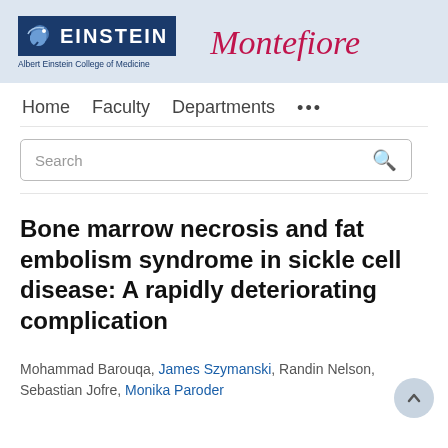[Figure (logo): Albert Einstein College of Medicine logo with blue badge and text, paired with Montefiore logo in pink italic serif font]
Home   Faculty   Departments   ...
Search
Bone marrow necrosis and fat embolism syndrome in sickle cell disease: A rapidly deteriorating complication
Mohammad Barouqa, James Szymanski, Randin Nelson, Sebastian Jofre, Monika Paroder